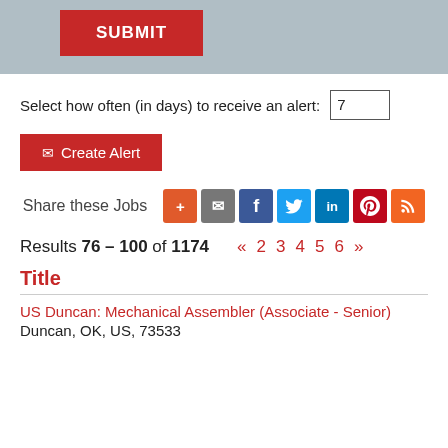SUBMIT
Select how often (in days) to receive an alert: 7
✉ Create Alert
Share these Jobs
Results 76 – 100 of 1174  «  2  3  4  5  6  »
Title
US Duncan: Mechanical Assembler (Associate - Senior)
Duncan, OK, US, 73533